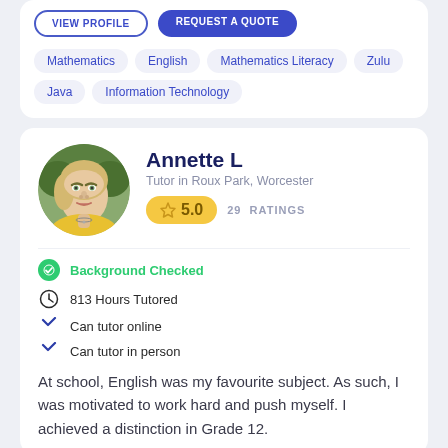Mathematics
English
Mathematics Literacy
Zulu
Java
Information Technology
Annette L
Tutor in Roux Park, Worcester
5.0  29 RATINGS
Background Checked
813 Hours Tutored
Can tutor online
Can tutor in person
At school, English was my favourite subject. As such, I was motivated to work hard and push myself. I achieved a distinction in Grade 12.